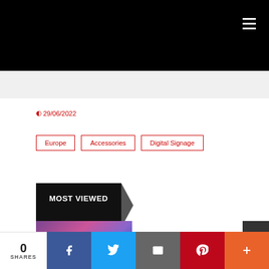29/06/2022
Europe | Accessories | Digital Signage
MOST VIEWED
Suspended LED screen falls on performers at
0 SHARES | Facebook | Twitter | Email | Pinterest | More